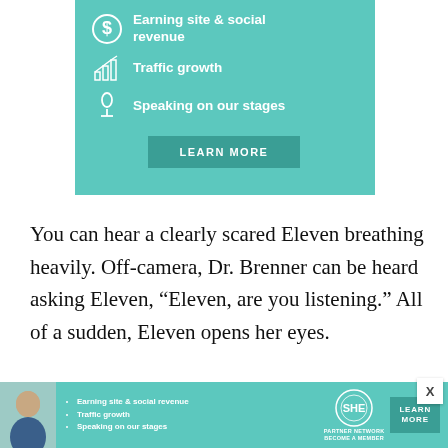[Figure (infographic): Teal advertisement banner with three items: dollar sign icon with 'Earning site & social revenue', bar chart icon with 'Traffic growth', microphone icon with 'Speaking on our stages', and a dark teal 'LEARN MORE' button.]
You can hear a clearly scared Eleven breathing heavily. Off-camera, Dr. Brenner can be heard asking Eleven, “Eleven, are you listening.” All of a sudden, Eleven opens her eyes.
[Figure (infographic): Bottom advertisement banner: SHE Partner Network ad with woman photo, bullet list (Earning site & social revenue, Traffic growth, Speaking on our stages), SHE logo, LEARN MORE button.]